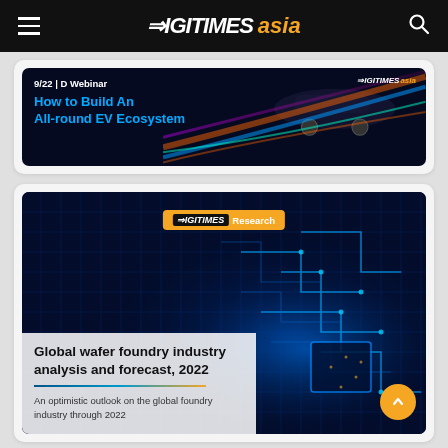DIGITIMES asia
[Figure (illustration): Webinar promotional banner with dark background, colorful light streak lines and car silhouette. Text: 9/22 | D Webinar — How to Build An All-round EV Ecosystem. DIGITIMES asia logo top right.]
[Figure (illustration): DIGITIMES Research report cover image. Circuit board background with blue neon lighting. Overlay badge: DIGITIMES Research. White semi-transparent text panel with title 'Global wafer foundry industry analysis and forecast, 2022' and subtitle 'An optimistic outlook on the global foundry industry through 2022'. Orange scroll-to-top button bottom right.]